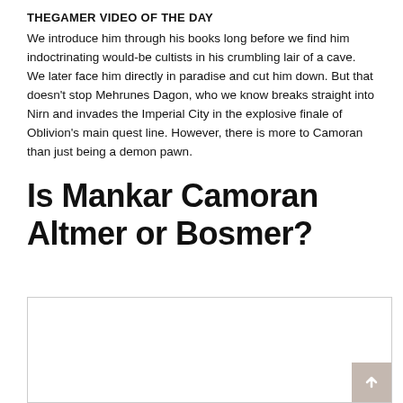THEGAMER VIDEO OF THE DAY
We introduce him through his books long before we find him indoctrinating would-be cultists in his crumbling lair of a cave. We later face him directly in paradise and cut him down. But that doesn't stop Mehrunes Dagon, who we know breaks straight into Nirn and invades the Imperial City in the explosive finale of Oblivion's main quest line. However, there is more to Camoran than just being a demon pawn.
Is Mankar Camoran Altmer or Bosmer?
[Figure (other): Empty image placeholder box with a scroll-to-top button in the bottom right corner]